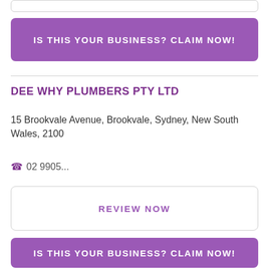IS THIS YOUR BUSINESS? CLAIM NOW!
DEE WHY PLUMBERS PTY LTD
15 Brookvale Avenue, Brookvale, Sydney, New South Wales, 2100
02 9905...
REVIEW NOW
IS THIS YOUR BUSINESS? CLAIM NOW!